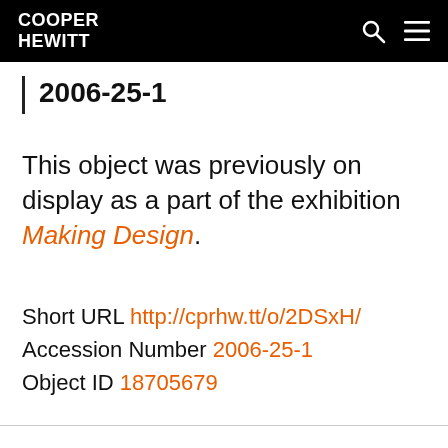COOPER HEWITT
2006-25-1
This object was previously on display as a part of the exhibition Making Design.
Short URL http://cprhw.tt/o/2DSxH/
Accession Number 2006-25-1
Object ID 18705679